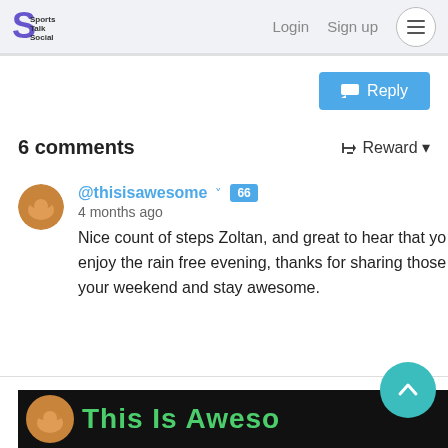Sports Talk Social  Login  Sign up
Reply
6 comments
Reward
@thisisawesome  66
4 months ago
Nice count of steps Zoltan, and great to hear that you enjoy the rain free evening, thanks for sharing those your weekend and stay awesome.
[Figure (other): Black banner with orange cat avatar thumbnail on left and green text 'This Is Aweso...' (truncated)]
Made in Canva
|ALIVE